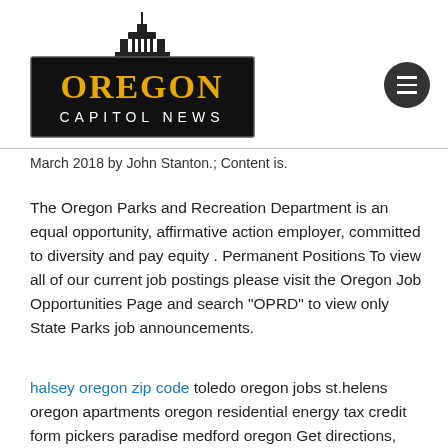[Figure (logo): Oregon Capitol News logo with capitol building silhouette above black rectangle with yellow OREGON text and white CAPITOL NEWS text]
March 2018 by John Stanton.; Content is.
The Oregon Parks and Recreation Department is an equal opportunity, affirmative action employer, committed to diversity and pay equity . Permanent Positions To view all of our current job postings please visit the Oregon Job Opportunities Page and search "OPRD" to view only State Parks job announcements.
halsey oregon zip code toledo oregon jobs st.helens oregon apartments oregon residential energy tax credit form pickers paradise medford oregon Get directions, reviews and information for Pickers Paradise in Medford, OR. pickers paradise 3424 S